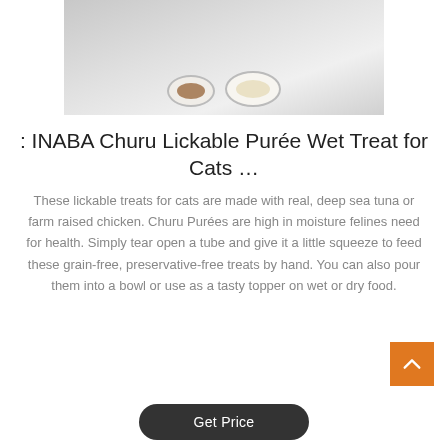[Figure (photo): Product photo of INABA Churu cat treats with two small white bowls, one containing brown cat food pieces and one containing cream-colored puree, on a light gray background]
: INABA Churu Lickable Purée Wet Treat for Cats …
These lickable treats for cats are made with real, deep sea tuna or farm raised chicken. Churu Purées are high in moisture felines need for health. Simply tear open a tube and give it a little squeeze to feed these grain-free, preservative-free treats by hand. You can also pour them into a bowl or use as a tasty topper on wet or dry food.